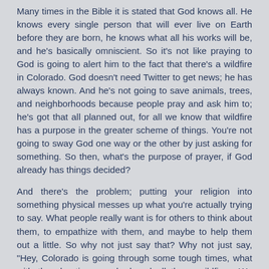Many times in the Bible it is stated that God knows all. He knows every single person that will ever live on Earth before they are born, he knows what all his works will be, and he's basically omniscient. So it's not like praying to God is going to alert him to the fact that there's a wildfire in Colorado. God doesn't need Twitter to get news; he has always known. And he's not going to save animals, trees, and neighborhoods because people pray and ask him to; he's got that all planned out, for all we know that wildfire has a purpose in the greater scheme of things. You're not going to sway God one way or the other by just asking for something. So then, what's the purpose of prayer, if God already has things decided?
And there's the problem; putting your religion into something physical messes up what you're actually trying to say. What people really want is for others to think about them, to empathize with them, and maybe to help them out a little. So why not just say that? Why not just say, "Hey, Colorado is going through some tough times, what with the shootings we had and all these wildfires. We could use a little support, cause we feel a little alone out here." That would be so